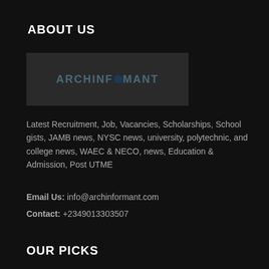ABOUT US
[Figure (logo): Archinformant logo: text 'ARCHINFOMANT' with a globe/circle icon replacing the 'O', displayed in dark teal/blue on a dark gray background]
Latest Recruitment, Job, Vacancies, Scholarships, School gists, JAMB news, NYSC news, university, polytechnic, and college news, WAEC & NECO, news, Education & Admission, Post UTME
Email Us: info@archinformant.com
Contact: +2349013303507
OUR PICKS